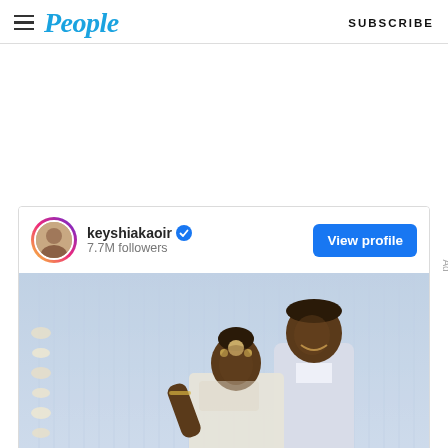People — SUBSCRIBE
[Figure (screenshot): Instagram embed card showing keyshiakaoir profile with 7.7M followers, View profile button, and wedding photo of couple in white/silver attire in front of decorative curtain backdrop]
keyshiakaoir  7.7M followers
View profile